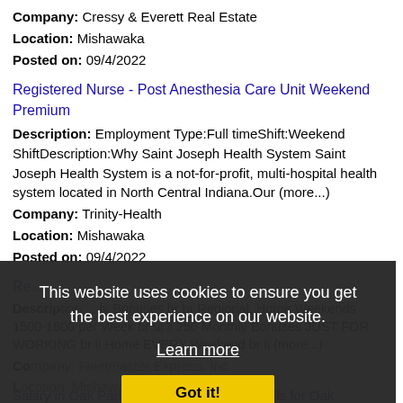Company: Cressy & Everett Real Estate
Location: Mishawaka
Posted on: 09/4/2022
Registered Nurse - Post Anesthesia Care Unit Weekend Premium
Description: Employment Type:Full timeShift:Weekend ShiftDescription:Why Saint Joseph Health System Saint Joseph Health System is a not-for-profit, multi-hospital health system located in North Central Indiana.Our (more...)
Company: Trinity-Health
Location: Mishawaka
Posted on: 09/4/2022
Re... [partially visible listing]
Description: ...br br Regional, Home Weekends 1500-1800 per Week br ul li 250 Monthly Bonuses JUST FOR WORKING br li Home EVERY Weekend br li (more...)
Company: Fleetmaster Express, Inc
Location: Mishawaka
Posted on: 09/4/2022
Salary in Oak Park, Illinois Area | More details for Oak
This website uses cookies to ensure you get the best experience on our website.
Learn more
Got it!